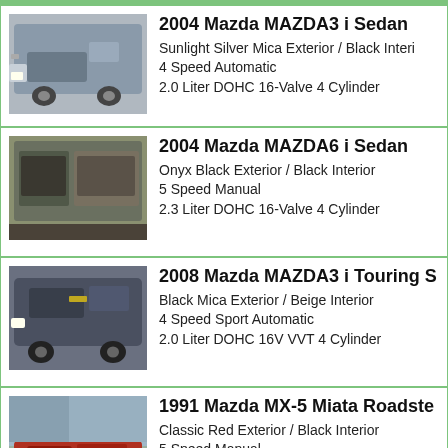[Figure (photo): Silver 2004 Mazda MAZDA3 i Sedan, front three-quarter view]
2004 Mazda MAZDA3 i Sedan
Sunlight Silver Mica Exterior / Black Interior
4 Speed Automatic
2.0 Liter DOHC 16-Valve 4 Cylinder
[Figure (photo): Interior/seat view of 2004 Mazda MAZDA6 i Sedan]
2004 Mazda MAZDA6 i Sedan
Onyx Black Exterior / Black Interior
5 Speed Manual
2.3 Liter DOHC 16-Valve 4 Cylinder
[Figure (photo): Dark blue/black 2008 Mazda MAZDA3 i Touring, front view]
2008 Mazda MAZDA3 i Touring S
Black Mica Exterior / Beige Interior
4 Speed Sport Automatic
2.0 Liter DOHC 16V VVT 4 Cylinder
[Figure (photo): Red 1991 Mazda MX-5 Miata Roadster, front three-quarter view]
1991 Mazda MX-5 Miata Roadste
Classic Red Exterior / Black Interior
5 Speed Manual
1.6 Liter DOHC 16-Valve 4 Cylinder